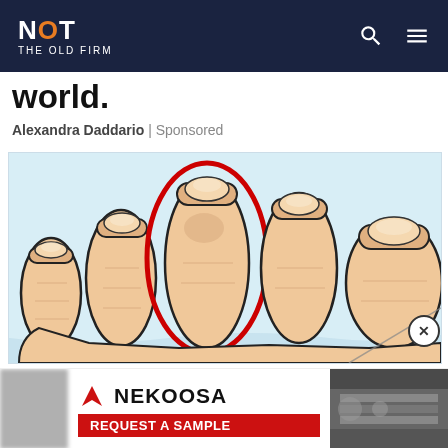NOT THE OLD FIRM
world.
Alexandra Daddario | Sponsored
[Figure (illustration): Illustrated close-up of toes on a foot with a red oval circle highlighting the second and third toes, against a light blue background. A close button (X) appears at the bottom right corner.]
[Figure (screenshot): Advertisement for Nekoosa featuring a red arrow logo, the brand name NEKOOSA in large bold text, and a red REQUEST A SAMPLE call-to-action button. The right side shows a blurred photo of industrial/printing equipment.]